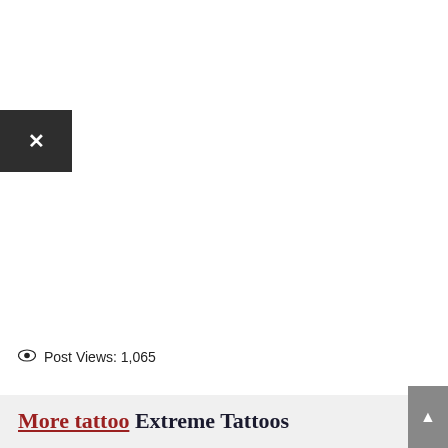[Figure (other): Close/dismiss button (dark square with white X) positioned at upper left of page]
Post Views: 1,065
More tattoo Extreme Tattoos